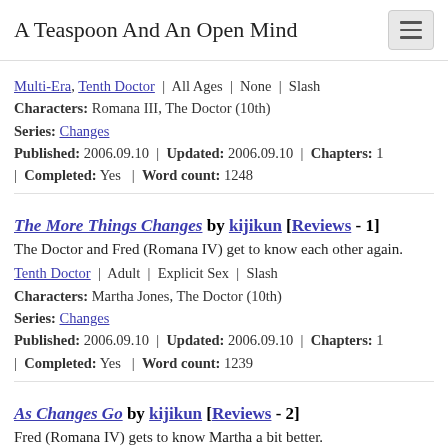A Teaspoon And An Open Mind
Multi-Era, Tenth Doctor | All Ages | None | Slash
Characters: Romana III, The Doctor (10th)
Series: Changes
Published: 2006.09.10 | Updated: 2006.09.10 | Chapters: 1 | Completed: Yes | Word count: 1248
The More Things Changes by kijikun [Reviews - 1]
The Doctor and Fred (Romana IV) get to know each other again.
Tenth Doctor | Adult | Explicit Sex | Slash
Characters: Martha Jones, The Doctor (10th)
Series: Changes
Published: 2006.09.10 | Updated: 2006.09.10 | Chapters: 1 | Completed: Yes | Word count: 1239
As Changes Go by kijikun [Reviews - 2]
Fred (Romana IV) gets to know Martha a bit better.
Multi-Era, Tenth Doctor | Adult | Explicit Sex | Femslash, Het
Characters: Martha Jones, Martha Jones, Other Character(s), Other Character(s) Romana IV